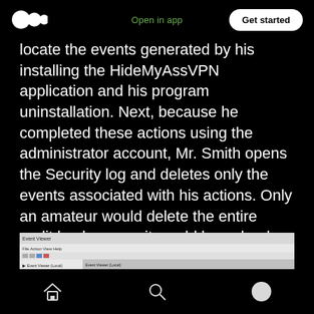Open in app | Get started
locate the events generated by his installing the HideMyAssVPN application and his program uninstallation. Next, because he completed these actions using the administrator account, Mr. Smith opens the Security log and deletes only the events associated with his actions. Only an amateur would delete the entire audit log because it would be a dead giveaway to any security admin checking the logs that someone had hacked the machine and erased logs.
[Figure (screenshot): Screenshot of Windows Event Viewer application showing event log entries including Custom Views, Windows Logs, and Application sections with highlighted Security log entry.]
Home | Search | Profile navigation icons